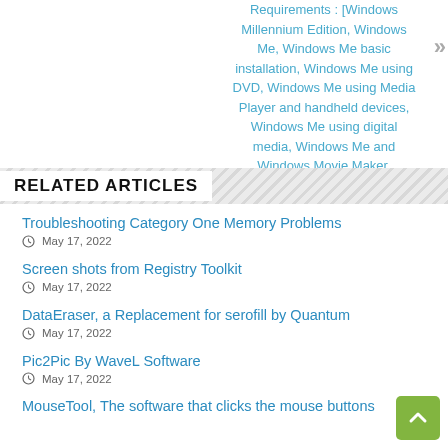Requirements : [Windows Millennium Edition, Windows Me, Windows Me basic installation, Windows Me using DVD, Windows Me using Media Player and handheld devices, Windows Me using digital media, Windows Me and Windows Movie Maker, Windows Me and CE devices]
RELATED ARTICLES
Troubleshooting Category One Memory Problems
May 17, 2022
Screen shots from Registry Toolkit
May 17, 2022
DataEraser, a Replacement for serofill by Quantum
May 17, 2022
Pic2Pic By WaveL Software
May 17, 2022
MouseTool, The software that clicks the mouse buttons
May 17, 2022